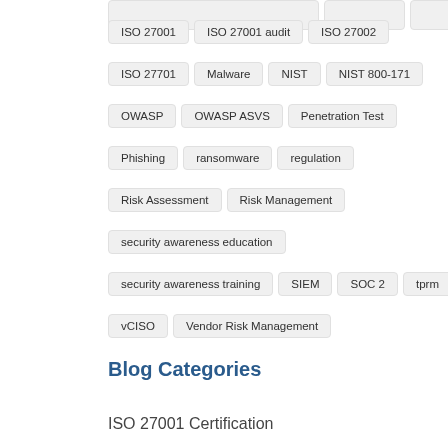ISO 27001
ISO 27001 audit
ISO 27002
ISO 27701
Malware
NIST
NIST 800-171
OWASP
OWASP ASVS
Penetration Test
Phishing
ransomware
regulation
Risk Assessment
Risk Management
security awareness education
security awareness training
SIEM
SOC 2
tprm
vCISO
Vendor Risk Management
vulnerability management
Blog Categories
ISO 27001 Certification